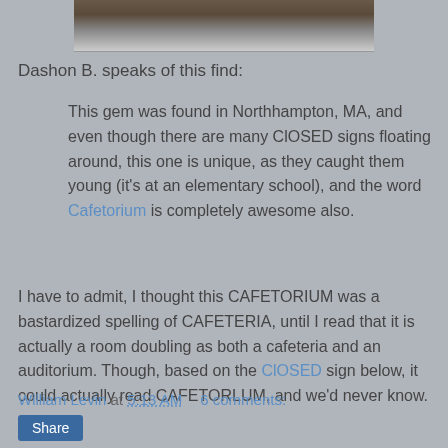[Figure (photo): Partial photo of a sign, cropped at top of page, showing dark furniture or cabinet area]
Dashon B. speaks of this find:
This gem was found in Northhampton, MA, and even though there are many ClOSED signs floating around, this one is unique, as they caught them young (it's at an elementary school), and the word Cafetorium is completely awesome also.
I have to admit, I thought this CAFETORIUM was a bastardized spelling of CAFETERIA, until I read that it is actually a room doubling as both a cafeteria and an auditorium. Though, based on the ClOSED sign below, it could actually read CAFETORLUM, and we'd never know.
William Levin at 5:13 AM   6 comments: